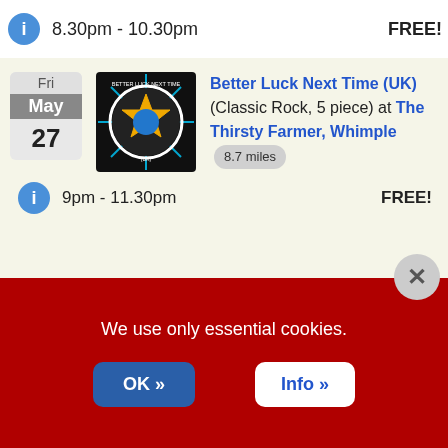8.30pm - 10.30pm   FREE!
[Figure (other): Event listing card: Better Luck Next Time (UK) band logo - circular badge with star]
Better Luck Next Time (UK) (Classic Rock, 5 piece) at The Thirsty Farmer, Whimple  8.7 miles
9pm - 11.30pm   FREE!
[Figure (photo): Black and white photo of Karina & the Slaves band]
Karina & the Slaves (Pop / Rock, 4 piece) at The Balfour Arms, Sidmouth  11.2 miles
9pm - 11.30pm   FREE!
We use only essential cookies.
OK »   Info »